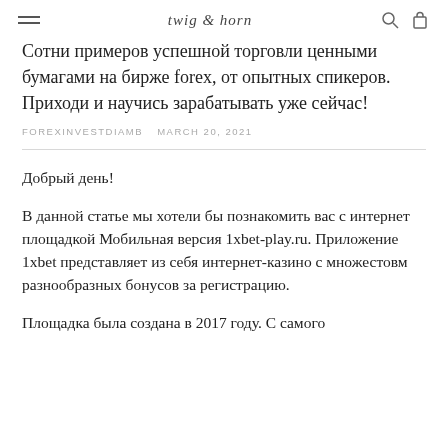twig & horn
Сотни примеров успешной торговли ценными бумагами на бирже forex, от опытных спикеров. Приходи и научись зарабатывать уже сейчас!
FOREXINVESTDIAMB   MARCH 20, 2021
Добрый день!
В данной статье мы хотели бы познакомить вас с интернет площадкой Мобильная версия 1xbet-play.ru. Приложение 1xbet представляет из себя интернет-казино с множестовм разнообразных бонусов за регистрацию.
Площадка была создана в 2017 году. С самого